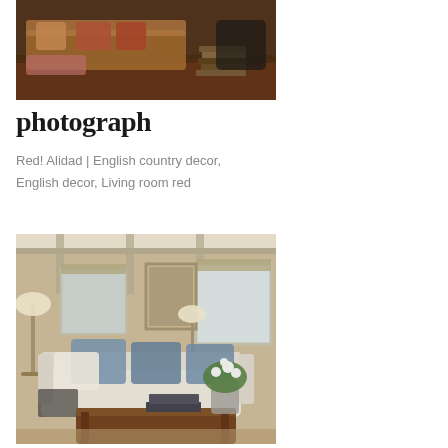[Figure (photo): Interior living room photo with colorful rugs, books stacked on floor, and floral sofa in warm tones]
photograph
Red! Alidad | English country decor, English decor, Living room red
[Figure (photo): Interior living room with white/beige sofa, blue cushions, wooden coffee table with books, floor lamp, and neutral wall tones]